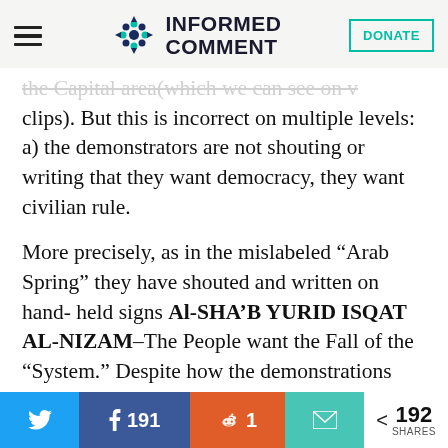INFORMED COMMENT
the Capital area(which we can see on v clips). But this is incorrect on multiple levels: a) the demonstrators are not shouting or writing that they want democracy, they want civilian rule.
More precisely, as in the mislabeled “Arab Spring” they have shouted and written on hand- held signs Al-SHA’B YURID ISQAT AL-NIZAM–The People want the Fall of the “System.” Despite how the demonstrations have often been reported, the masses haven’t
192 SHARES